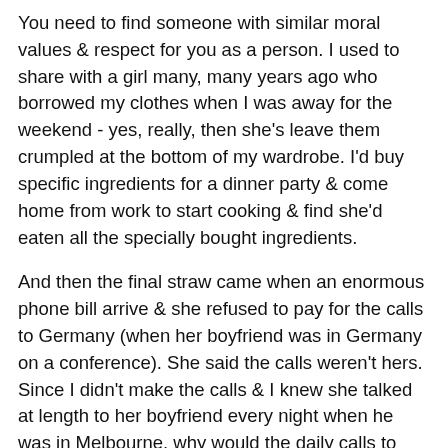You need to find someone with similar moral values & respect for you as a person. I used to share with a girl many, many years ago who borrowed my clothes when I was away for the weekend - yes, really, then she's leave them crumpled at the bottom of my wardrobe. I'd buy specific ingredients for a dinner party & come home from work to start cooking & find she'd eaten all the specially bought ingredients.
And then the final straw came when an enormous phone bill arrive & she refused to pay for the calls to Germany (when her boyfriend was in Germany on a conference). She said the calls weren't hers. Since I didn't make the calls & I knew she talked at length to her boyfriend every night when he was in Melbourne, why would the daily calls to Germany NOT be hers.
It was alot of money.
She also used to drink my bottles of alcohol & not replace them. She didn't want to split food shopping expenses, she said she buy her own food (& then DIDN'T). I think that flat share only lasted a year. I lost alot of money through the